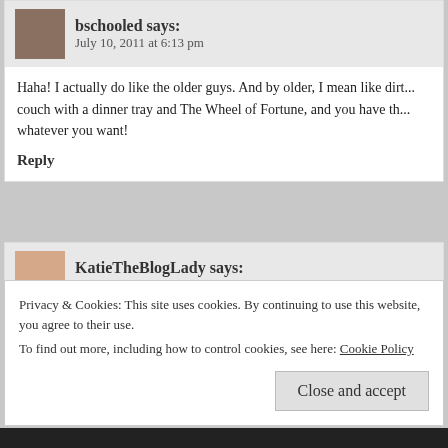bschooled says: July 10, 2011 at 6:13 pm
Haha! I actually do like the older guys. And by older, I mean like dirt... couch with a dinner tray and The Wheel of Fortune, and you have th... whatever you want!
Reply
KatieTheBlogLady says: July 6, 2011 at 6:52 pm
Privacy & Cookies: This site uses cookies. By continuing to use this website, you agree to their use.
To find out more, including how to control cookies, see here: Cookie Policy
Close and accept